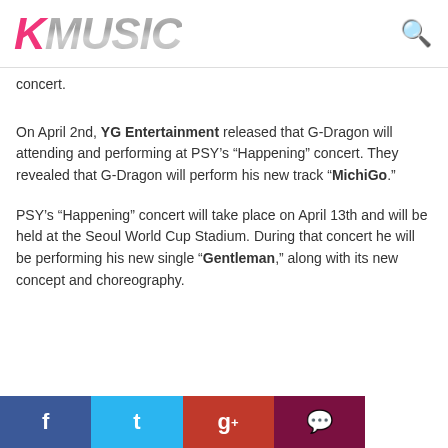KMUSIC
concert.
On April 2nd, YG Entertainment released that G-Dragon will attending and performing at PSY’s “Happening” concert. They revealed that G-Dragon will perform his new track “MichiGo.”
PSY’s “Happening” concert will take place on April 13th and will be held at the Seoul World Cup Stadium. During that concert he will be performing his new single “Gentleman,” along with its new concept and choreography.